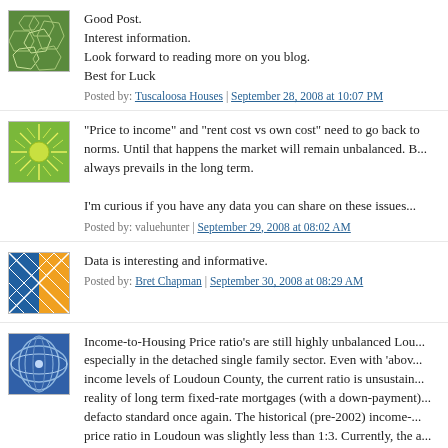[Figure (illustration): Green geometric mosaic avatar icon]
Good Post.
Interest information.
Look forward to reading more on you blog.
Best for Luck
Posted by: Tuscaloosa Houses | September 28, 2008 at 10:07 PM
[Figure (illustration): Green sun/burst pattern avatar icon]
"Price to income" and "rent cost vs own cost" need to go back to norms. Until that happens the market will remain unbalanced. B... always prevails in the long term.

I'm curious if you have any data you can share on these issues...
Posted by: valuehunter | September 29, 2008 at 08:02 AM
[Figure (illustration): Orange and blue geometric grid avatar icon]
Data is interesting and informative.
Posted by: Bret Chapman | September 30, 2008 at 08:29 AM
[Figure (illustration): Blue wave/sphere pattern avatar icon]
Income-to-Housing Price ratio's are still highly unbalanced Lou... especially in the detached single family sector. Even with 'abov... income levels of Loudoun County, the current ratio is unsustain... reality of long term fixed-rate mortgages (with a down-payment)... defacto standard once again. The historical (pre-2002) income-... price ratio in Loudoun was slightly less than 1:3. Currently, the a... detached single family home in Loudoun is in at a ratio...